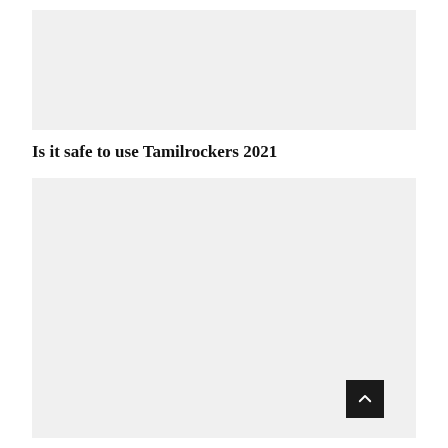[Figure (other): Gray placeholder image box at top of page]
Is it safe to use Tamilrockers 2021
[Figure (other): Gray placeholder image box below section header, large]